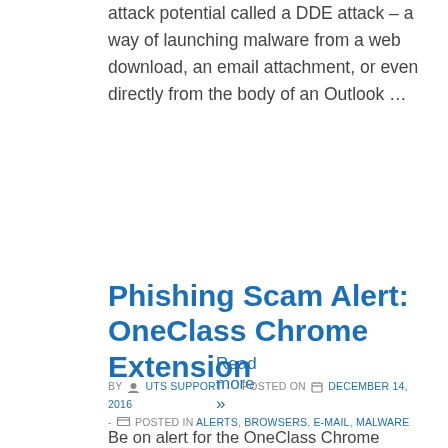attack potential called a DDE attack – a way of launching malware from a web download, an email attachment, or even directly from the body of an Outlook …
Read more »
Phishing Scam Alert: OneClass Chrome Extension
BY UTS SUPPORT - POSTED ON DECEMBER 14, 2016 - POSTED IN ALERTS, BROWSERS, E-MAIL, MALWARE
Be on alert for the OneClass Chrome Extension. It is a phishing scam where once the extension is